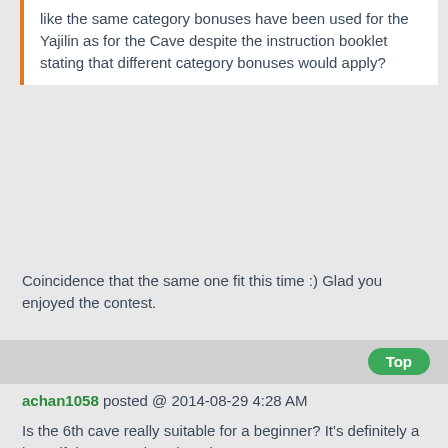like the same category bonuses have been used for the Yajilin as for the Cave despite the instruction booklet stating that different category bonuses would apply?
Coincidence that the same one fit this time :) Glad you enjoyed the contest.
Top
achan1058 posted @ 2014-08-29 4:28 AM
Is the 6th cave really suitable for a beginner? It's definitely a beautiful construction, though.
I really liked the cave exploration puzzles for their